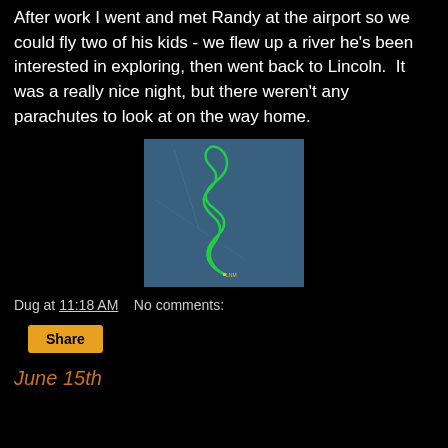After work I went and met Randy at the airport so we could fly two of his kids - we flew up a river he's been interested in exploring, then went back to Lincoln.  It was a really nice night, but there weren't any parachutes to look at on the way home.
[Figure (map): Flight track map on a dark blue background showing a winding green flight path following a river, looping at the top and bottom, with a small label 'LNM' near the bottom of the track and a faint diagonal line crossing the map.]
Dug at 11:18 AM    No comments:
Share
June 15th